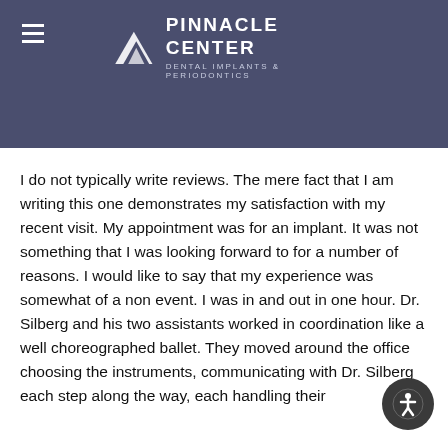[Figure (logo): Pinnacle Center Dental Implants & Periodontics logo with mountain icon on a dark blue-purple header background]
I do not typically write reviews. The mere fact that I am writing this one demonstrates my satisfaction with my recent visit. My appointment was for an implant. It was not something that I was looking forward to for a number of reasons. I would like to say that my experience was somewhat of a non event. I was in and out in one hour. Dr. Silberg and his two assistants worked in coordination like a well choreographed ballet. They moved around the office choosing the instruments, communicating with Dr. Silberg each step along the way, each handling their